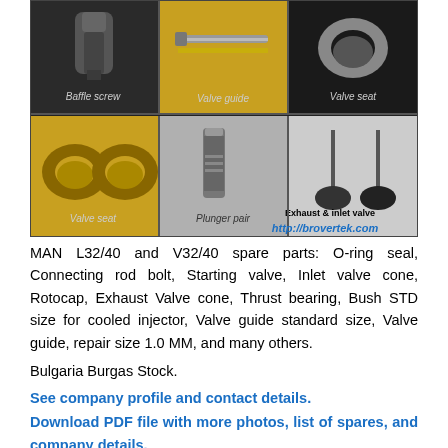[Figure (photo): 6-panel grid of engine spare parts photos: Baffle screw (top-left), Valve guide (top-center), Valve seat (top-right), Valve seat pair (bottom-left), Plunger pair (bottom-center), Exhaust & inlet valve (bottom-right). URL http://brovertek.com shown in bottom-right corner.]
MAN L32/40 and V32/40 spare parts: O-ring seal, Connecting rod bolt, Starting valve, Inlet valve cone, Rotocap, Exhaust Valve cone, Thrust bearing, Bush STD size for cooled injector, Valve guide standard size, Valve guide, repair size 1.0 MM, and many others.
Bulgaria Burgas Stock.
See company profile and contact details.
Download PDF file with more photos, list of spares, and company details.